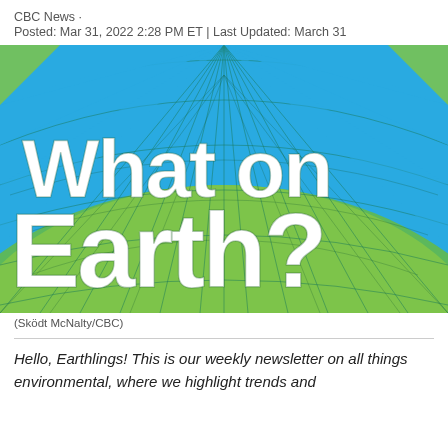CBC News · Posted: Mar 31, 2022 2:28 PM ET | Last Updated: March 31
[Figure (illustration): Decorative graphic with blue and green geometric globe/grid pattern and large white bold text reading 'What on Earth?']
(Sködt McNalty/CBC)
Hello, Earthlings! This is our weekly newsletter on all things environmental, where we highlight trends and